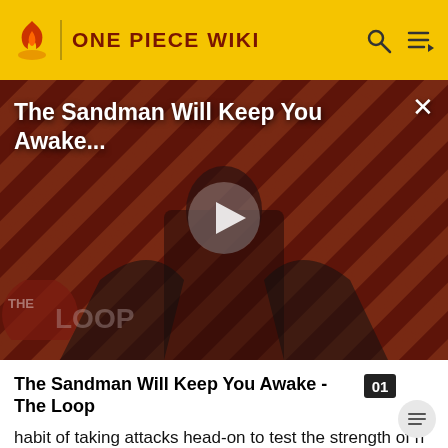ONE PIECE WIKI
[Figure (screenshot): Video thumbnail for 'The Sandman Will Keep You Awake...' showing a dark-cloaked figure against a red diagonal-striped background with THE LOOP watermark and a play button overlay]
The Sandman Will Keep You Awake - The Loop
habit of taking attacks head-on to test the strength of his adversaries. That being said, they have great combat synergy and are considered unbeatable together, to the